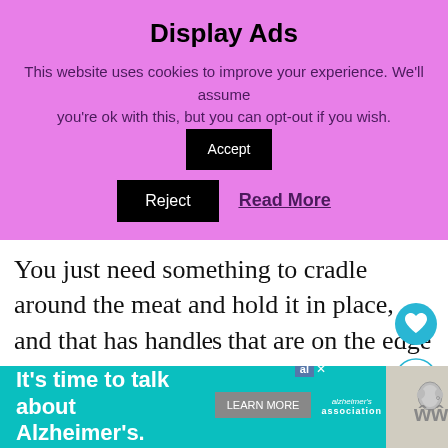Display Ads
This website uses cookies to improve your experience. We'll assume you're ok with this, but you can opt-out if you wish.
Accept
Reject
Read More
You just need something to cradle around the meat and hold it in place, and that has handles that are on the edge so you can lift the meatloaf out of the instant pot when done.
You can make a foil sling from a large piece of heavy duty foil.
[Figure (infographic): Bottom ad banner: teal background with text 'It's time to talk about Alzheimer's.' and LEARN MORE button, Alzheimer's Association logo, and close/ad marker.]